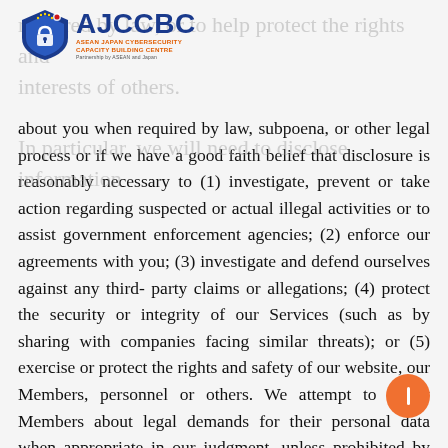[Figure (logo): AJCCBC - ASEAN Japan Cybersecurity Capacity Building Centre logo with shield icon and EU/Japan flags]
required by law, or to help protect the rights and interests of others.
In particular, we will need to disclose information about you when required by law, subpoena, or other legal process or if we have a good faith belief that disclosure is reasonably necessary to (1) investigate, prevent or take action regarding suspected or actual illegal activities or to assist government enforcement agencies; (2) enforce our agreements with you; (3) investigate and defend ourselves against any third-party claims or allegations; (4) protect the security or integrity of our Services (such as by sharing with companies facing similar threats); or (5) exercise or protect the rights and safety of our website, our Members, personnel or others. We attempt to notify Members about legal demands for their personal data when appropriate in our judgment, unless prohibited by law or court order or when the request is an emergency. We may dispute such demands when we